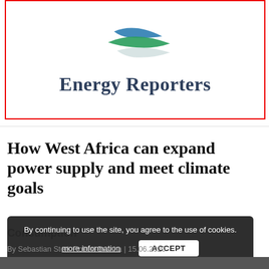[Figure (logo): Energy Reporters logo with blue and green swoosh graphic above bold dark blue-grey text reading 'Energy Reporters', enclosed in a red border box]
How West Africa can expand power supply and meet climate goals
Consumption
By continuing to use the site, you agree to the use of cookies. more information ACCEPT
By Sebastian Sterl, Robert Brenha | 15.06.2020